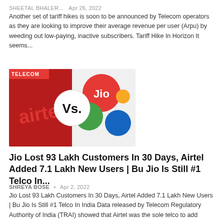SHEETAL BHALER...  Apr 26, 2022
Another set of tariff hikes is soon to be announced by Telecom operators as they are looking to improve their average revenue per user (Arpu) by weeding out low-paying, inactive subscribers. Tariff Hike In Horizon It seems...
[Figure (photo): Airtel vs Jio logo comparison image with TELECOM badge]
Jio Lost 93 Lakh Customers In 30 Days, Airtel Added 7.1 Lakh New Users | Bu Jio Is Still #1 Telco In...
SHREYA BOSE  •  Apr 2, 2022
Jio Lost 93 Lakh Customers In 30 Days, Airtel Added 7.1 Lakh New Users | Bu Jio Is Still #1 Telco In India Data released by Telecom Regulatory Authority of India (TRAI) showed that Airtel was the sole telco to add subscribers in...